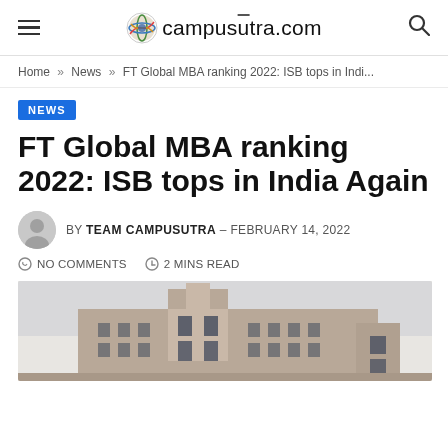campusutra.com
Home » News » FT Global MBA ranking 2022: ISB tops in Indi...
NEWS
FT Global MBA ranking 2022: ISB tops in India Again
BY TEAM CAMPUSUTRA – FEBRUARY 14, 2022
NO COMMENTS  2 MINS READ
[Figure (photo): Photograph of ISB (Indian School of Business) building exterior, a large multi-story sandstone-colored modern building]